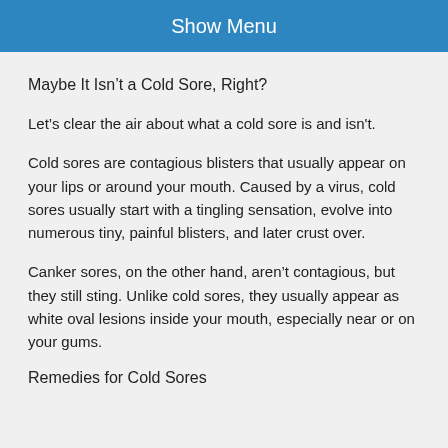Show Menu
Maybe It Isn’t a Cold Sore, Right?
Let’s clear the air about what a cold sore is and isn't.
Cold sores are contagious blisters that usually appear on your lips or around your mouth. Caused by a virus, cold sores usually start with a tingling sensation, evolve into numerous tiny, painful blisters, and later crust over.
Canker sores, on the other hand, aren’t contagious, but they still sting. Unlike cold sores, they usually appear as white oval lesions inside your mouth, especially near or on your gums.
Remedies for Cold Sores